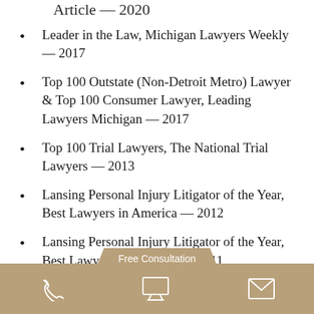Article — 2020
Leader in the Law, Michigan Lawyers Weekly — 2017
Top 100 Outstate (Non-Detroit Metro) Lawyer & Top 100 Consumer Lawyer, Leading Lawyers Michigan — 2017
Top 100 Trial Lawyers, The National Trial Lawyers — 2013
Lansing Personal Injury Litigator of the Year, Best Lawyers in America — 2012
Lansing Personal Injury Litigator of the Year, Best Lawyers in America — 2011
Leo A. Fa[...] ing
Free Consultation | Phone | Monitor | Mail